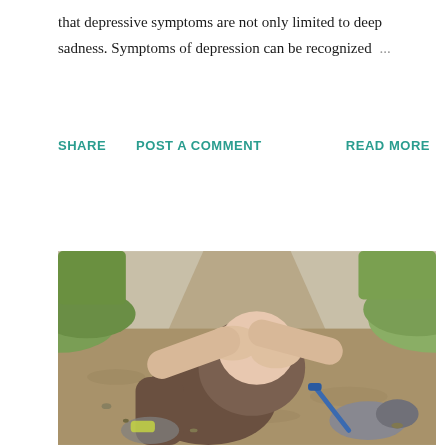that depressive symptoms are not only limited to deep sadness. Symptoms of depression can be recognized ...
SHARE   POST A COMMENT   READ MORE
[Figure (photo): A person sitting on a dirt hiking trail holding their knee with both hands, appearing to be injured. A hiking pole and trail shoes are visible. Green grass and shrubs are visible in the background along the trail path.]